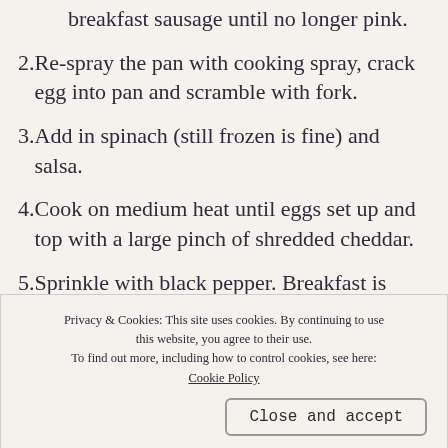breakfast sausage until no longer pink.
2. Re-spray the pan with cooking spray, crack egg into pan and scramble with fork.
3. Add in spinach (still frozen is fine) and salsa.
4. Cook on medium heat until eggs set up and top with a large pinch of shredded cheddar.
5. Sprinkle with black pepper. Breakfast is served!
Privacy & Cookies: This site uses cookies. By continuing to use this website, you agree to their use.
To find out more, including how to control cookies, see here: Cookie Policy
Close and accept